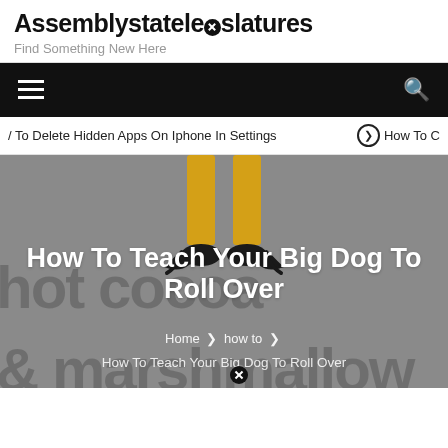Assemblystatelegislatures
Find Something New Here
[Figure (screenshot): Black navigation bar with hamburger menu icon on left and search icon on right]
/ To Delete Hidden Apps On Iphone In Settings   How To C
[Figure (illustration): Hero image with gray background, elf legs in yellow stockings and black curled shoes at top center, large background text reading 'hot cocoa' and '& marshmallow', white bold title 'How To Teach Your Big Dog To Roll Over', breadcrumb navigation reading 'Home > how to >', and subtitle 'How To Teach Your Big Dog To Roll Over']
How To Teach Your Big Dog To Roll Over
Home › how to ›
How To Teach Your Big Dog To Roll Over